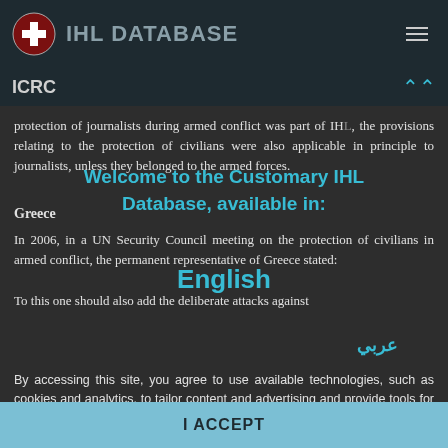IHL DATABASE — ICRC
protection of journalists during armed conflict was part of IHL, the provisions relating to the protection of civilians were also applicable in principle to journalists, unless they belonged to the armed forces.
Welcome to the Customary IHL Database, available in:
Greece
English
In 2006, in a UN Security Council meeting on the protection of civilians in armed conflict, the permanent representative of Greece stated:
عربي
To this one should also add the deliberate attacks against
By accessing this site, you agree to use available technologies, such as cookies and analytics, to tailor content and advertising and provide tools for social media. This will be used to analyze website traffic, allowing us to understand visitor trends and improve our services. Learn more
I ACCEPT